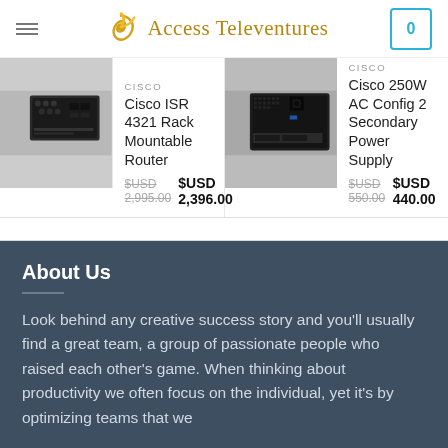Access Televentures
[Figure (photo): Photo of Cisco ISR 4321 Rack Mountable Router, dark hardware device viewed from rear/angle]
CISCO
Cisco ISR 4321 Rack Mountable Router
$USD 2,995.00  $USD 2,396.00
[Figure (photo): Photo of Cisco 250W AC Config 2 Secondary Power Supply, dark hardware device]
CISCO
Cisco 250W AC Config 2 Secondary Power Supply
$USD 550.00  $USD 440.00
About Us
Look behind any creative success story and you’ll usually find a great team, a group of passionate people who raised each other’s game. When thinking about productivity we often focus on the individual, yet it’s by optimizing teams that we